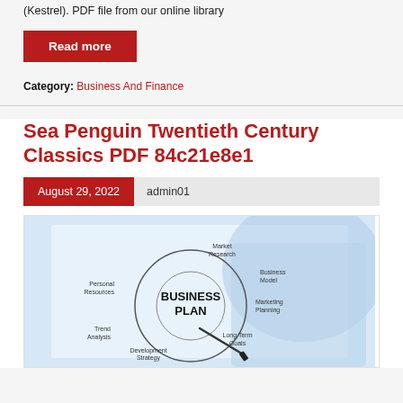(Kestrel). PDF file from our online library
Read more
Category: Business And Finance
Sea Penguin Twentieth Century Classics PDF 84c21e8e1
August 29, 2022   admin01
[Figure (illustration): Business plan circular diagram with sections: Market Research, Business Model, Marketing Planning, Long Term Goals, Development Strategy, Trend Analysis, Personal Resources. Center text reads BUSINESS PLAN in bold black. A person in a blue shirt is drawing the diagram with a marker.]